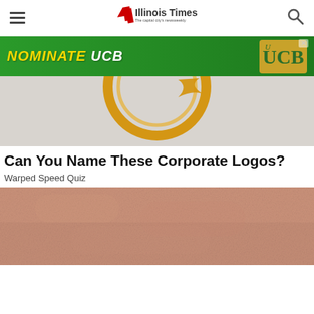Illinois Times — The capital city's newsweekly
[Figure (other): Advertisement banner: NOMINATE UCB with UCB bank logo in green background]
[Figure (other): Cropped corporate logo image — partial view of a gold/orange circular ring logo on light gray background]
Can You Name These Corporate Logos?
Warped Speed Quiz
[Figure (photo): Close-up photo of human skin with natural texture and tone, pinkish-beige color]